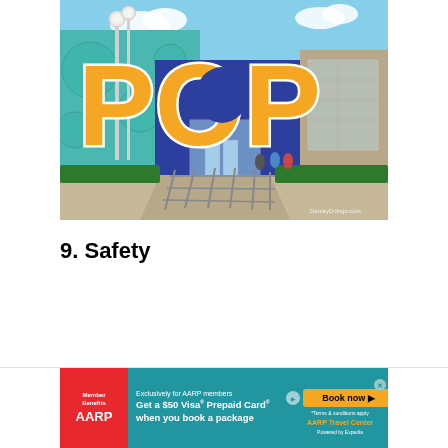[Figure (photo): Photo of the exterior of Pop Century Resort at Walt Disney World, featuring large colorful orange POP letters on the building facade against a blue sky. The building has teal walls with circular decorations. A walkway with railings is visible in the foreground.]
9. Safety
[Figure (infographic): AARP advertisement banner: 'Exclusively for AARP members - Get a $50 Visa Prepaid Card when you book a package. Book now. *Terms & conditions apply. AARP Travel Center Powered by Expedia.' Member Benefits AARP logo on red background.]